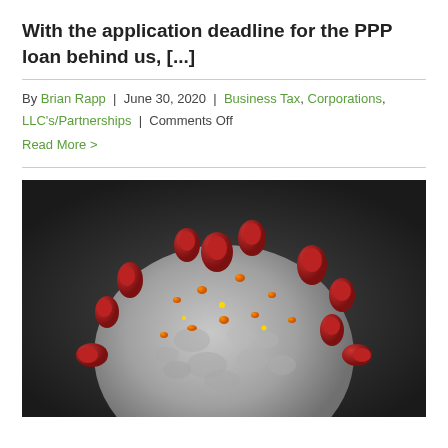With the application deadline for the PPP loan behind us, [...]
By Brian Rapp | June 30, 2020 | Business Tax, Corporations, LLC's/Partnerships | Comments Off
Read More >
[Figure (photo): Close-up microscopic image of a coronavirus particle showing red spike proteins and orange surface features on a grey background]